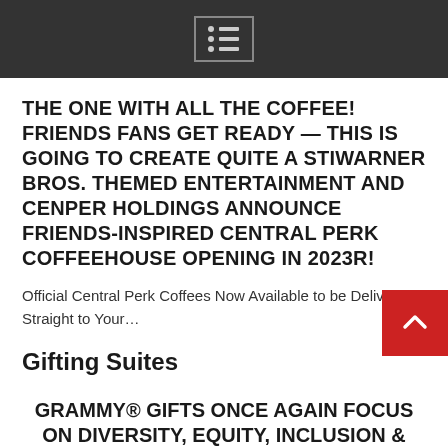[menu icon]
THE ONE WITH ALL THE COFFEE! FRIENDS FANS GET READY — THIS IS GOING TO CREATE QUITE A STIWARNER BROS. THEMED ENTERTAINMENT AND CENPER HOLDINGS ANNOUNCE FRIENDS-INSPIRED CENTRAL PERK COFFEEHOUSE OPENING IN 2023R!
Official Central Perk Coffees Now Available to be Delivered Straight to Your…
Gifting Suites
GRAMMY® GIFTS ONCE AGAIN FOCUS ON DIVERSITY, EQUITY, INCLUSION &